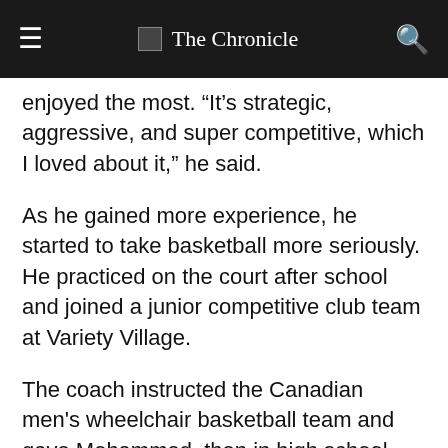The Chronicle
enjoyed the most. “It’s strategic, aggressive, and super competitive, which I loved about it,” he said.
As he gained more experience, he started to take basketball more seriously. He practiced on the court after school and joined a junior competitive club team at Variety Village.
The coach instructed the Canadian men's wheelchair basketball team and gave Mohammed, then in high school, the opportunity to play professionally.
“Playing for my country was one of the greatest experiences of my life. I was beyond proud of myself,” he said.